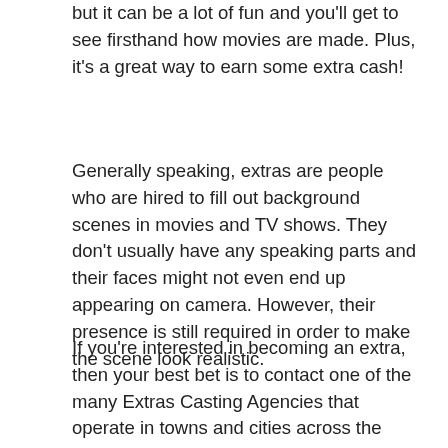but it can be a lot of fun and you'll get to see firsthand how movies are made. Plus, it's a great way to earn some extra cash!
Generally speaking, extras are people who are hired to fill out background scenes in movies and TV shows. They don't usually have any speaking parts and their faces might not even end up appearing on camera. However, their presence is still required in order to make the scene look realistic.
If you're interested in becoming an extra, then your best bet is to contact one of the many Extras Casting Agencies that operate in towns and cities across the country. These agencies work with productions of all